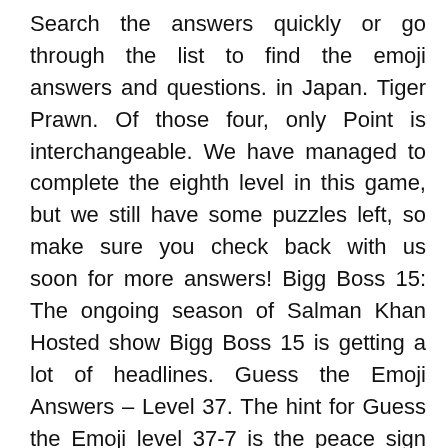Search the answers quickly or go through the list to find the emoji answers and questions. in Japan. Tiger Prawn. Of those four, only Point is interchangeable. We have managed to complete the eighth level in this game, but we still have some puzzles left, so make sure you check back with us soon for more answers! Bigg Boss 15: The ongoing season of Salman Khan Hosted show Bigg Boss 15 is getting a lot of headlines. Guess the Emoji Answers – Level 37. The hint for Guess the Emoji level 37-7 is the peace sign and a woman dancing (a way of celebration after a win of some sort. ). The latest version 1.6.0 has different ASCIImojis built in (see list below).. ASCIImoji is currently available in these formats: The Muses are presented in Hercules as the five lovely goddesses whose domain lies in the arts, and they sing ... Find 38 ways to say UNWAVERING, along with antonyms, related words, and example sentences at Thesaurus.com, the world's most trusted free